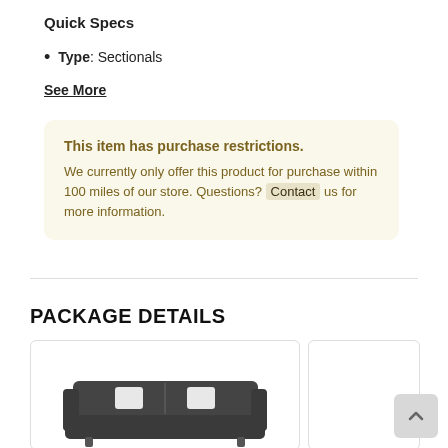Quick Specs
Type: Sectionals
See More
This item has purchase restrictions. We currently only offer this product for purchase within 100 miles of our store. Questions? Contact us for more information.
PACKAGE DETAILS
[Figure (photo): Dark gray sectional sofa product image inside a card]
[Figure (photo): Partially visible second product card on the right edge]